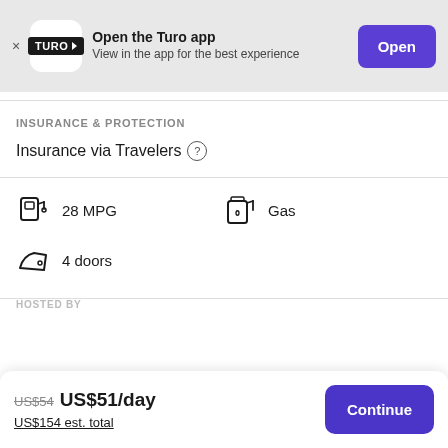[Figure (screenshot): Turo app banner with logo, title 'Open the Turo app', subtitle 'View in the app for the best experience', and an 'Open' button]
INSURANCE & PROTECTION
Insurance via Travelers ?
28 MPG
Gas
4 doors
HOSTED BY
US$54 US$51/day
US$154 est. total
Continue